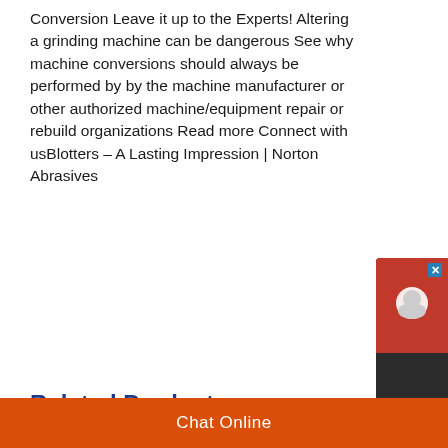Conversion Leave it up to the Experts! Altering a grinding machine can be dangerous See why machine conversions should always be performed by by the machine manufacturer or other authorized machine/equipment repair or rebuild organizations Read more Connect with usBlotters – A Lasting Impression | Norton Abrasives
[Figure (screenshot): Chat Now widget with red top section showing chat icon and dark bottom section with 'Chat Now' text]
Related Products
[Figure (photo): Industrial factory interior with machinery, robotic arms, and geometric metal structures]
Chat Online